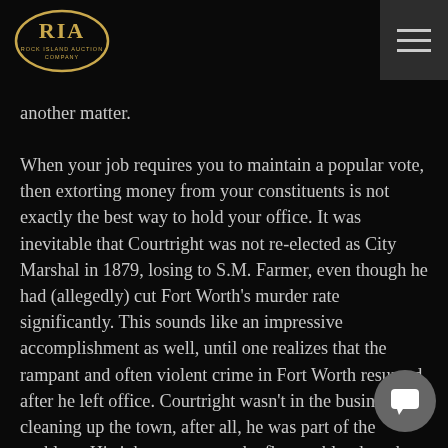RIA Rock Island Auction Company
another matter.
When your job requires you to maintain a popular vote, then extorting money from your constituents is not exactly the best way to hold your office. It was inevitable that Courtright was not re-elected as City Marshal in 1879, losing to S.M. Farmer, even though he had (allegedly) cut Fort Worth's murder rate significantly. This sounds like an impressive accomplishment as well, until one realizes that the rampant and often violent crime in Fort Worth resumed after he left office. Courtright wasn't in the business of cleaning up the town, after all, he was part of the problem. His job was to stem the flow of blood on the streets so that the population and the